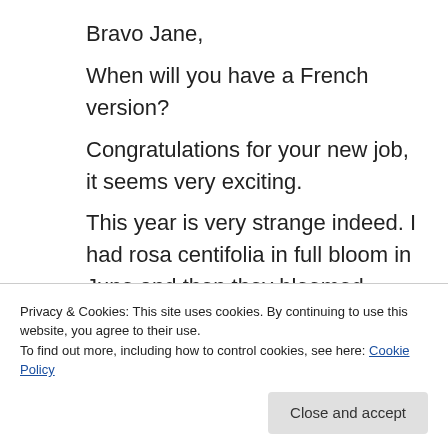Bravo Jane,
When will you have a French version?
Congratulations for your new job, it seems very exciting.
This year is very strange indeed. I had rosa centifolia in full bloom in June and then they bloomed again in August. I think a lot of plants were fooled by the dry warm spell in April. My bees were out just after Christmas on St Stephen day. That’s certainly very bad for them.
Privacy & Cookies: This site uses cookies. By continuing to use this website, you agree to their use.
To find out more, including how to control cookies, see here: Cookie Policy